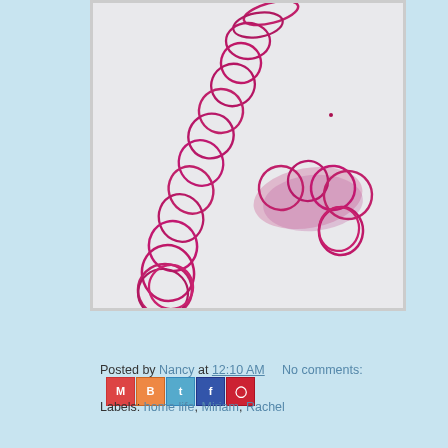[Figure (illustration): Child's crayon or marker drawing on white paper showing looping circles arranged in a diagonal line from top-right to bottom-left, and a separate cluster of overlapping circles/scribbles in purple/magenta color]
Read more »
Posted by Nancy at 12:10 AM   No comments:
Labels: home life, Miriam, Rachel